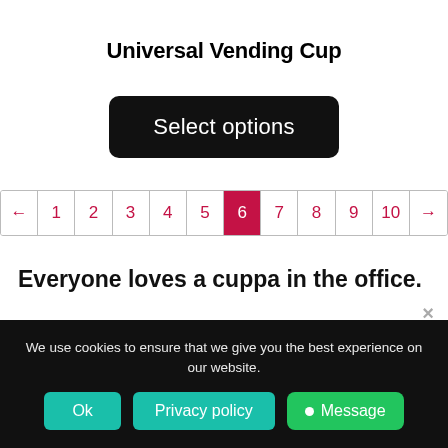Universal Vending Cup
[Figure (screenshot): Black rounded rectangle button labeled 'Select options']
[Figure (screenshot): Pagination bar with arrows and numbers 1-10, number 6 highlighted in red/crimson background]
Everyone loves a cuppa in the office.
We use cookies to ensure that we give you the best experience on our website.
[Figure (screenshot): Cookie consent bar with Ok button, Privacy policy button, Message button, and close X]